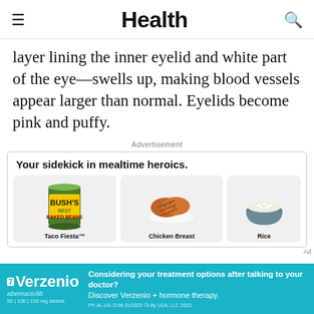Health
layer lining the inner eyelid and white part of the eye—swells up, making blood vessels appear larger than normal. Eyelids become pink and puffy.
Advertisement
[Figure (screenshot): Advertisement for Bush's Beans grocery products including Taco Fiesta, Chicken Breast, and Rice. Headline: 'Your sidekick in mealtime heroics.']
[Figure (screenshot): Banner advertisement for Verzenio (abemaciclib) with text: 'Considering your treatment options after talking to your doctor? Discover Verzenio + hormone therapy.' PP-AL-US-3196 01/2022 Eli Lilly USA, LLC 2022.]